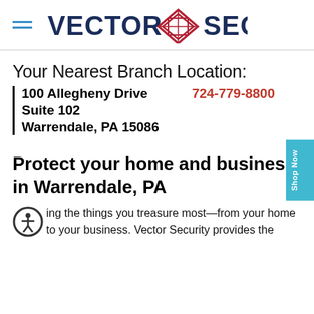Vector Security
Your Nearest Branch Location:
100 Allegheny Drive   724-779-8800
Suite 102
Warrendale, PA 15086
Protect your home and business in Warrendale, PA
...ing the things you treasure most—from your home to your business. Vector Security provides the